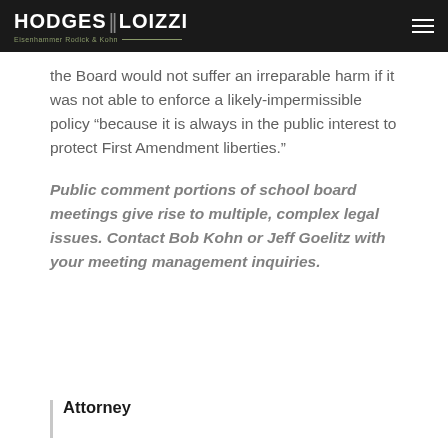HODGES LOIZZI — Eisenhammer Rodick & Kohn
the Board would not suffer an irreparable harm if it was not able to enforce a likely-impermissible policy “because it is always in the public interest to protect First Amendment liberties.”
Public comment portions of school board meetings give rise to multiple, complex legal issues. Contact Bob Kohn or Jeff Goelitz with your meeting management inquiries.
Attorney